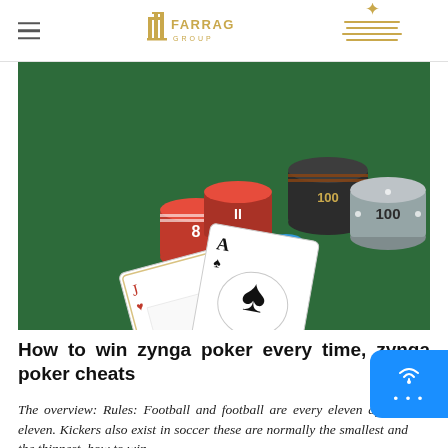FARRAG GROUP | [Arabic logo]
[Figure (photo): Poker chips (red, black, gray with '100' label) and two playing cards (Ace of spades, Jack of hearts) on a green felt table surface.]
How to win zynga poker every time, zynga poker cheats
The overview: Rules: Football and football are every eleven against eleven. Kickers also exist in soccer these are normally the smallest and the thinnest, how to win